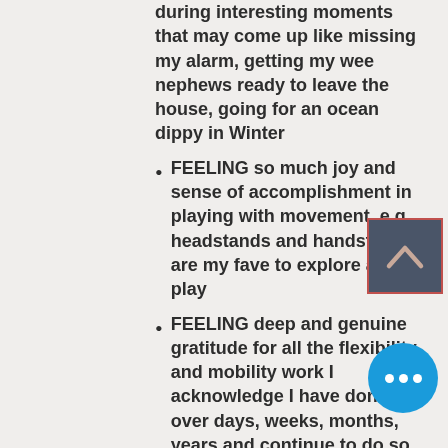during interesting moments that may come up like missing my alarm, getting my wee nephews ready to leave the house, going for an ocean dippy in Winter
FEELING so much joy and sense of accomplishment in playing with movement, e.g. headstands and handstands are my fave to explore and play
FEELING deep and genuine gratitude for all the flexibility and mobility work I acknowledge I have done over days, weeks, months, years and continue to do so when
[Figure (other): A dark blue/grey square button with a chevron/caret arrow pointing upward, with a reddish border outline]
[Figure (other): A bright blue circular button with three white dots (ellipsis/more options icon)]